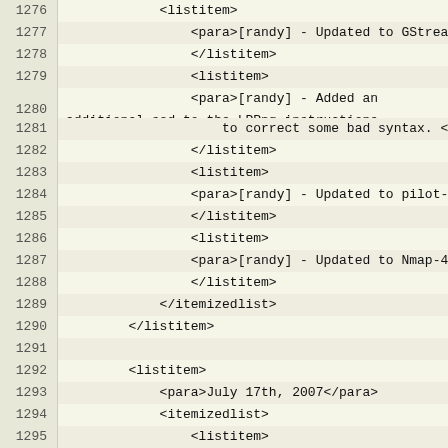Code listing lines 1276-1294 showing XML markup for listitem and para elements
1276: <listitem>
1277:     <para>[randy] - Updated to GStreamer-0.10.13.</para>
1278:         </listitem>
1279:         <listitem>
1280:     <para>[randy] - Added an additional sed to the LPRng instructions
1281:         to correct some bad syntax. </para>
1282:         </listitem>
1283:         <listitem>
1284:     <para>[randy] - Updated to pilot-link-0.12.2.</para>
1285:         </listitem>
1286:         <listitem>
1287:     <para>[randy] - Updated to Nmap-4.20.</para>
1288:         </listitem>
1289:     </itemizedlist>
1290:     </listitem>
1291:
1292:     <listitem>
1293:     <para>July 17th, 2007</para>
1294:     <itemizedlist>